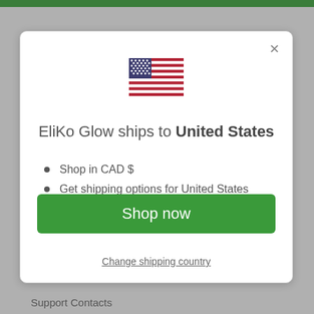[Figure (illustration): US flag emoji/icon centered above modal title]
EliKo Glow ships to United States
Shop in CAD $
Get shipping options for United States
Shop now
Change shipping country
Support Contacts